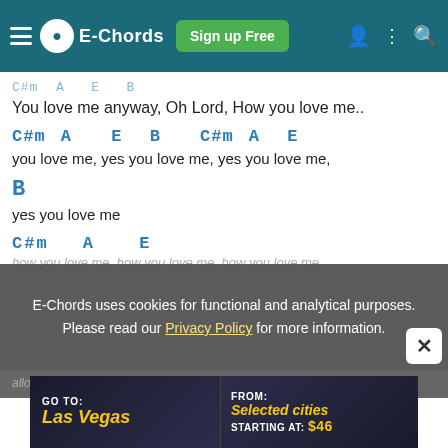E-Chords | Sign up Free
C#m  A    E   B
You love me anyway, Oh Lord, How you love me..
C#m A    E  B    C#m A    E
you love me, yes you love me, yes you love me,
B
yes you love me
C#m    A    E
how you love me, how you love me, how you love me,
E-Chords uses cookies for functional and analytical purposes. Please read our Privacy Policy for more information.
[Figure (screenshot): Advertisement banner: GO TO: Las Vegas / FROM: Selected cities STARTING AT: $46]